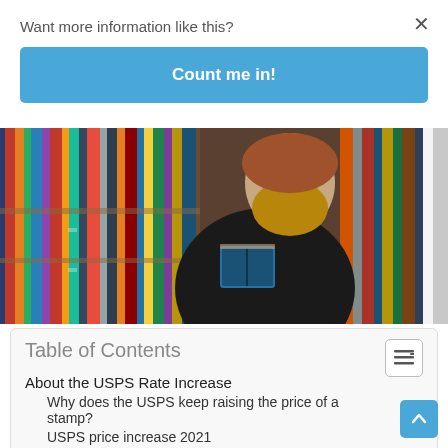Want more information like this?
Count me in!
[Figure (photo): A bearded man in a dark jacket standing in a library aisle, holding a book, surrounded by colorful bookshelves.]
Table of Contents
About the USPS Rate Increase
Why does the USPS keep raising the price of a stamp?
USPS price increase 2021
Takeaways